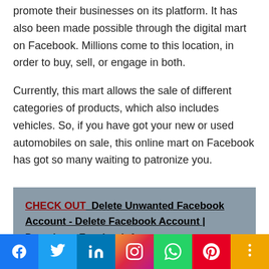promote their businesses on its platform. It has also been made possible through the digital mart on Facebook. Millions come to this location, in order to buy, sell, or engage in both.
Currently, this mart allows the sale of different categories of products, which also includes vehicles. So, if you have got your new or used automobiles on sale, this online mart on Facebook has got so many waiting to patronize you.
CHECK OUT  Delete Unwanted Facebook Account - Delete Facebook Account | Deactivate Facebook Account
[Figure (other): Social media share bar with icons for Facebook, Twitter, LinkedIn, Instagram, WhatsApp, Pinterest, and More]